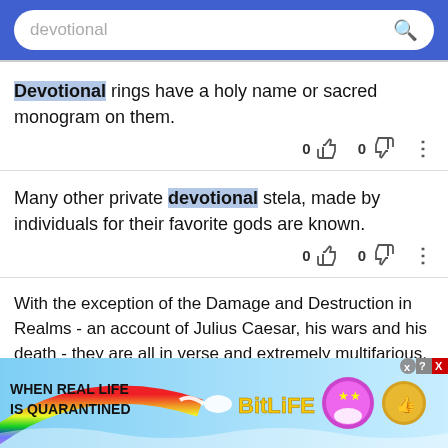devotional [search bar]
Devotional rings have a holy name or sacred monogram on them.
Many other private devotional stela, made by individuals for their favorite gods are known.
With the exception of the Damage and Destruction in Realms - an account of Julius Caesar, his wars and his death - they are all in verse and extremely multifarious, narrative, devotional hagiological
[Figure (infographic): BitLife mobile game advertisement banner at bottom of screen reading WHEN REAL LIFE IS QUARANTINED with rainbow and game characters]